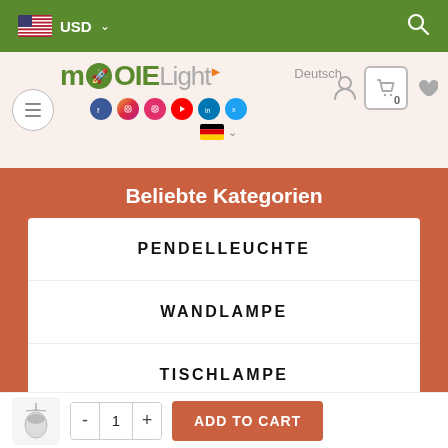USD — top navigation bar with US flag and search icon
[Figure (screenshot): MoodieLight website header with logo, Deutsch label, social icons, user/cart/heart icons, and German flag dropdown]
Beliebte Kategorien
PENDELLEUCHTE
WANDLAMPE
TISCHLAMPE
Product thumbnail — 1 + ADD TO CART